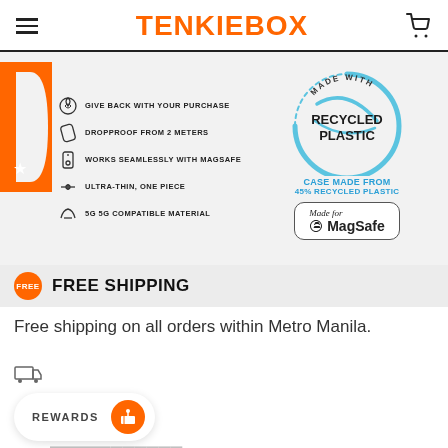TENKIEBOX
[Figure (infographic): Product feature icons: Give back with your purchase, Dropproof from 2 meters, Works seamlessly with MagSafe, Ultra-thin, one piece, 5G 5G compatible material. Orange D logo with star on left side.]
[Figure (infographic): Recycled plastic circular badge with 'MADE WITH' text arc, 'RECYCLED PLASTIC' center text, blue swoosh lines, 'CASE MADE FROM 45% RECYCLED PLASTIC' below, and Made for MagSafe Apple badge.]
FREE SHIPPING
Free shipping on all orders within Metro Manila.
REWARDS
Get same day when ordered on weekdays. The following may clarified based on actual Order